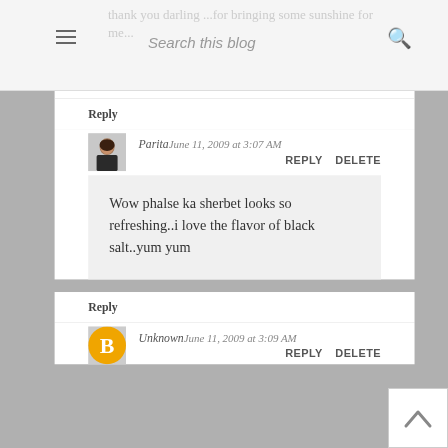Search this blog
thank you darling ...for bringing some sunshine for me...
Reply
Parita June 11, 2009 at 3:07 AM REPLY DELETE
Wow phalse ka sherbet looks so refreshing..i love the flavor of black salt..yum yum
Reply
Unknown June 11, 2009 at 3:09 AM REPLY DELETE